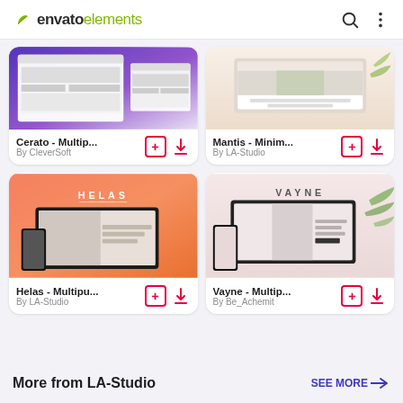envato elements
[Figure (screenshot): Cerato - Multip... product card with thumbnail showing a multipage ecommerce website template with purple/dark theme]
[Figure (screenshot): Mantis - Minim... product card with thumbnail showing a minimal website template with light/beige theme]
[Figure (screenshot): Helas - Multipu... product card with thumbnail showing orange gradient background with device mockups and HELAS branding]
[Figure (screenshot): Vayne - Multip... product card with thumbnail showing pink/blush background with VAYNE branding and device mockups]
More from LA-Studio
SEE MORE →